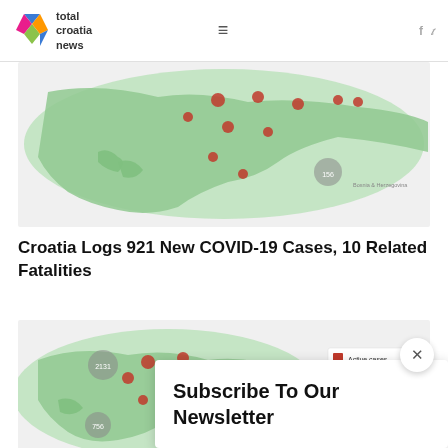total croatia news
[Figure (map): Map of Croatia showing COVID-19 case clusters as red pins/circles on a green-tinted map background]
Croatia Logs 921 New COVID-19 Cases, 10 Related Fatalities
[Figure (map): Second map of Croatia showing COVID-19 case data with a legend overlay showing Active cases and Total in red/blue bars]
Subscribe To Our Newsletter